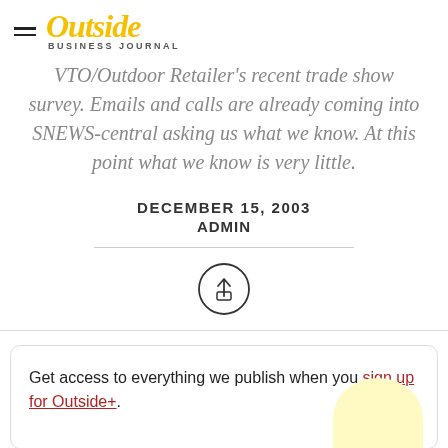Outside Business Journal
VTO/Outdoor Retailer's recent trade show survey. Emails and calls are already coming into SNEWS-central asking us what we know. At this point what we know is very little.
DECEMBER 15, 2003
ADMIN
[Figure (illustration): Share button icon: a circle with an upward arrow/export symbol inside]
Get access to everything we publish when you sign up for Outside+.